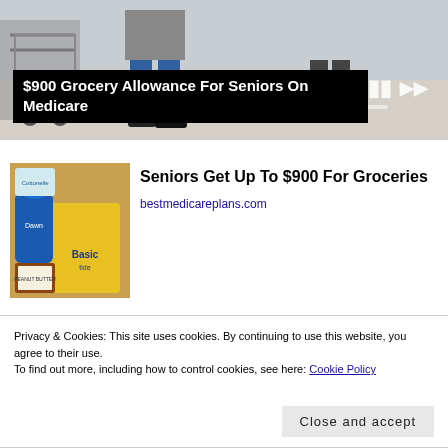[Figure (photo): Slideshow image showing person with shopping cart in a store, with media controls (previous, pause, next) and progress bar segments visible]
$900 Grocery Allowance For Seniors On Medicare
[Figure (photo): Grocery items including Cottonelle, Dawn, Tide, and other household products piled together]
Seniors Get Up To $900 For Groceries
bestmedicareplans.com
Privacy & Cookies: This site uses cookies. By continuing to use this website, you agree to their use.
To find out more, including how to control cookies, see here: Cookie Policy
Close and accept